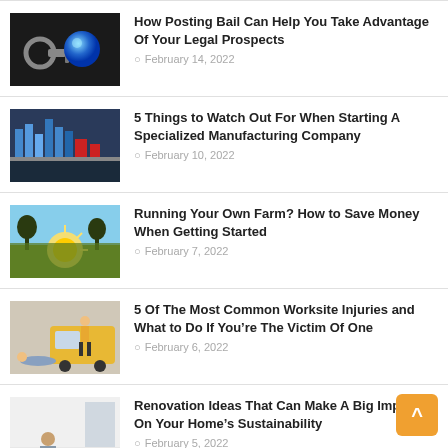[Figure (photo): Handcuffs and a blue sphere on dark background]
How Posting Bail Can Help You Take Advantage Of Your Legal Prospects
February 14, 2022
[Figure (photo): Industrial manufacturing facility with pipes and machinery]
5 Things to Watch Out For When Starting A Specialized Manufacturing Company
February 10, 2022
[Figure (photo): Farm field at sunset with trees silhouetted]
Running Your Own Farm? How to Save Money When Getting Started
February 7, 2022
[Figure (photo): Worker injured at worksite near yellow vehicle]
5 Of The Most Common Worksite Injuries and What to Do If You’re The Victim Of One
February 6, 2022
[Figure (photo): Person sitting on floor during home renovation]
Renovation Ideas That Can Make A Big Impact On Your Home’s Sustainability
February 5, 2022
[Figure (photo): Medical cannabis related image]
Health Conditions That Qualify For Medical Cannabis